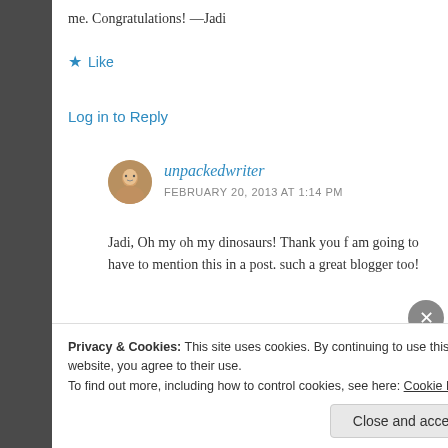me. Congratulations! —Jadi
★ Like
Log in to Reply
unpackedwriter
FEBRUARY 20, 2013 AT 1:14 PM
Jadi, Oh my oh my dinosaurs! Thank you f am going to have to mention this in a post. such a great blogger too!
★ Like
Privacy & Cookies: This site uses cookies. By continuing to use this website, you agree to their use.
To find out more, including how to control cookies, see here: Cookie Policy
Close and accept